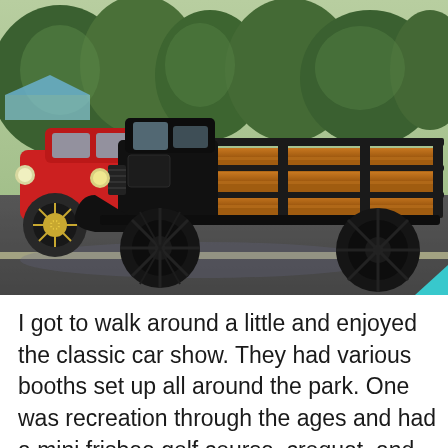[Figure (photo): Outdoor classic car show scene. A black antique flatbed truck with a wooden stake bed is parked in the foreground on wet pavement. A red classic car is visible behind it on the left. Green trees fill the background. A small teal triangle graphic appears in the bottom-right corner of the image.]
I got to walk around a little and enjoyed the classic car show. They had various booths set up all around the park. One was recreation through the ages and had a mini frisbee golf course, croquet, and nerf sports set up. I wasn't there when children were actually playing on the games, but